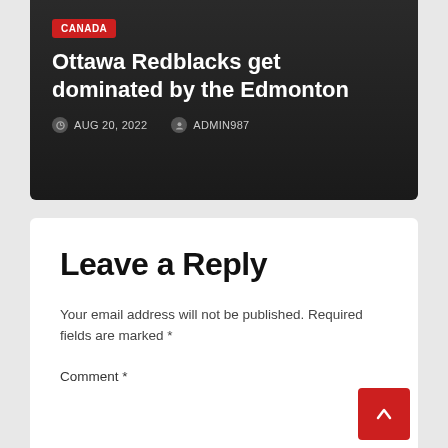CANADA
Ottawa Redblacks get dominated by the Edmonton
AUG 20, 2022  ADMIN987
Leave a Reply
Your email address will not be published. Required fields are marked *
Comment *